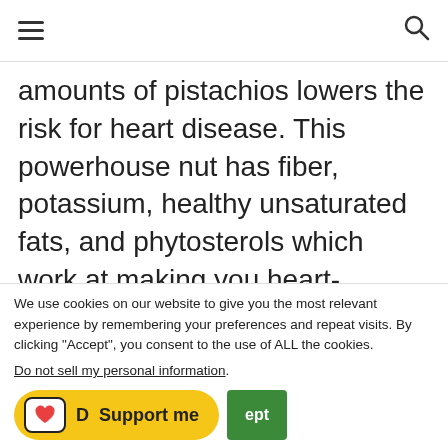[hamburger menu] [search icon]
amounts of pistachios lowers the risk for heart disease. This powerhouse nut has fiber, potassium, healthy unsaturated fats, and phytosterols which work at making you heart-healthy effect.
We use cookies on our website to give you the most relevant experience by remembering your preferences and repeat visits. By clicking “Accept”, you consent to the use of ALL the cookies.
Do not sell my personal information.
[Figure (other): Support me button (Ko-fi, yellow rounded button with heart icon) and Accept button (green)]